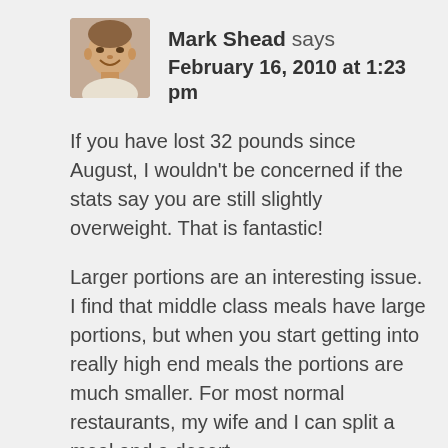[Figure (photo): Avatar photo of Mark Shead, a man smiling, cropped portrait]
Mark Shead says
February 16, 2010 at 1:23 pm
If you have lost 32 pounds since August, I wouldn't be concerned if the stats say you are still slightly overweight. That is fantastic!
Larger portions are an interesting issue. I find that middle class meals have large portions, but when you start getting into really high end meals the portions are much smaller. For most normal restaurants, my wife and I can split a meal and a desert